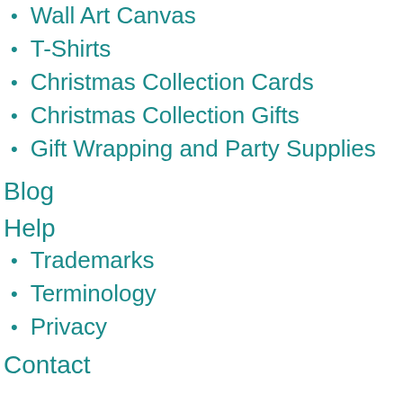Wall Art Canvas
T-Shirts
Christmas Collection Cards
Christmas Collection Gifts
Gift Wrapping and Party Supplies
Blog
Help
Trademarks
Terminology
Privacy
Contact
Digital Wall Art